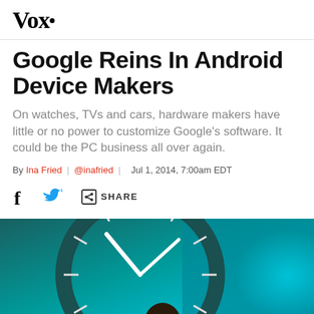Vox
Google Reins In Android Device Makers
On watches, TVs and cars, hardware makers have little or no power to customize Google's software. It could be the PC business all over again.
By Ina Fried | @inafried | Jul 1, 2014, 7:00am EDT
[Figure (other): Share bar with Facebook, Twitter, and share icons]
[Figure (photo): Photo of a person in front of a large analog watch face with teal/blue background]